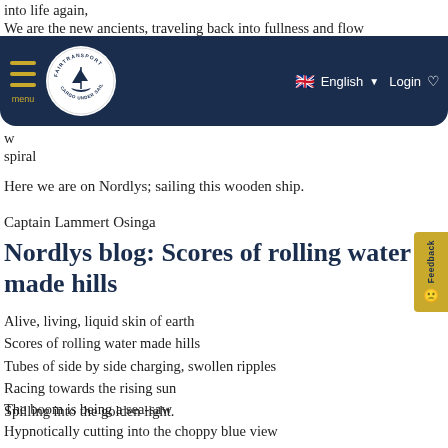into life again,
We are the new ancients, traveling back into fullness and flow
Th...
[Figure (screenshot): Navigation bar for Fairtransport Cargo Under Sail website with dark navy background, circular logo with sailing ship, hamburger menu, English language selector with UK flag, Login and heart icons]
w...
spiral
Here we are on Nordlys; sailing this wooden ship.
Captain Lammert Osinga
Nordlys blog: Scores of rolling water made hills
Alive, living, liquid skin of earth
Scores of rolling water made hills
Tubes of side by side charging, swollen ripples
Racing towards the rising sun
Spilling into the golden light.
The boom is being a sea-saw
Hypnotically cutting into the choppy blue view
Up and down I see the Spirits of air and wind